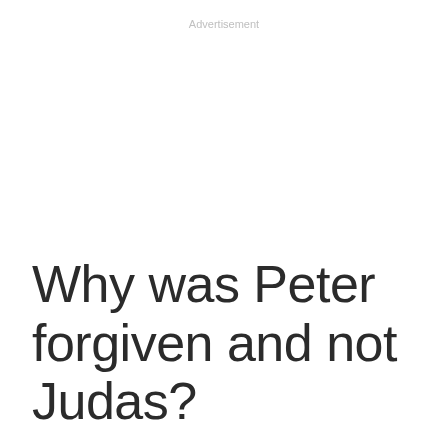Advertisement
Why was Peter forgiven and not Judas?